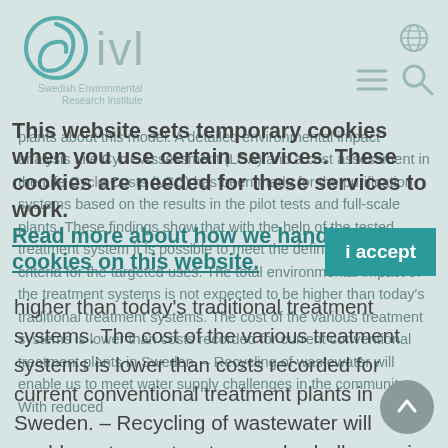IVL Swedish Environmental Research Institute
plants about this model. A detailed environmental impact analysis Life Cycle Assessment (LCA) and a cost assessment in the Life Cycle Costs (LCC) has been made for the purification systems based on the results in the pilot tests and full-scale plants. These findings show that with the help of the tested treatment system it is possible to meet the defined water quality criteria for the targeted uses. The total environmental impact of the treatment systems is not expected to be higher than today's traditional treatment systems. The cost of the various treatment systems is lower than costs recorded for current conventional treatment plants in Sweden. – Recycling of wastewater will enable us to meet water supply challenges in the community. With reduced
This website sets temporary cookies when you use certain services. These cookies are needed for these services to work. Read more about how we handle cookies on this website.